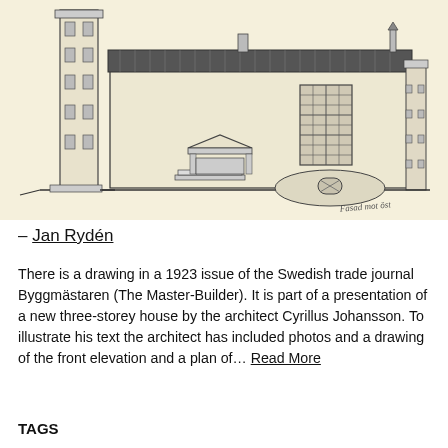[Figure (illustration): Architectural sketch/drawing of a building facade and side elevation, showing a church or historic building with a tower on the left, tiled roof, arched entrance portal, and a small structure to the right. Drawn in pencil on cream/yellowed paper with a handwritten note at bottom right.]
– Jan Rydén
There is a drawing in a 1923 issue of the Swedish trade journal Byggmästaren (The Master-Builder). It is part of a presentation of a new three-storey house by the architect Cyrillus Johansson. To illustrate his text the architect has included photos and a drawing of the front elevation and a plan of... Read More
TAGS